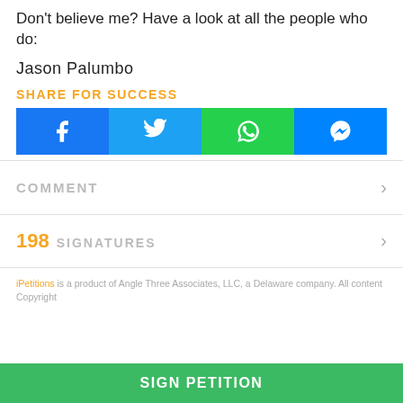Don't believe me? Have a look at all the people who do:
Jason Palumbo
SHARE FOR SUCCESS
[Figure (other): Social sharing buttons: Facebook, Twitter, WhatsApp, Messenger]
COMMENT
198 SIGNATURES
iPetitions is a product of Angle Three Associates, LLC, a Delaware company. All content Copyright
SIGN PETITION